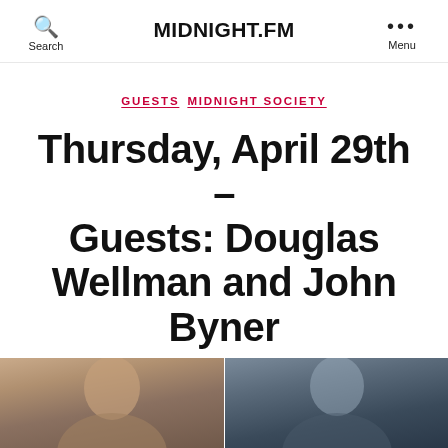Search | MIDNIGHT.FM | Menu
GUESTS  MIDNIGHT SOCIETY
Thursday, April 29th – Guests: Douglas Wellman and John Byner
By Midnight.FM  April 27, 2021  No Comments
[Figure (photo): Two portrait photos side by side: left photo shows a man with grey hair outdoors with warm tones; right photo shows a man with light hair against a dark background.]